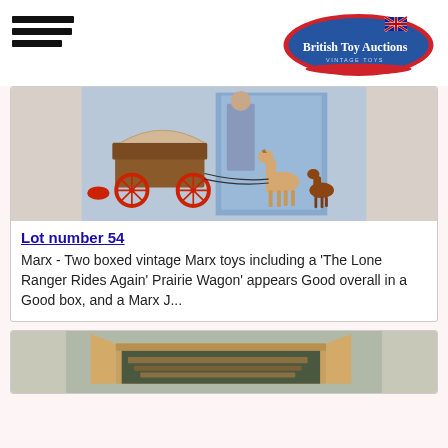[Figure (logo): British Toy Auctions logo - oval shape with red border, blue interior with Union Jack flag, text 'British Toy Auctions' in white serif font, 'VINTAGE TOYS' in smaller text below]
[Figure (photo): Photo of vintage Marx toys including a Lone Ranger Prairie Wagon with horse figures and red wheels, with colorful box art in background]
Lot number 54
Marx - Two boxed vintage Marx toys including a 'The Lone Ranger Rides Again' Prairie Wagon' appears Good overall in a Good box, and a Marx J...
[Figure (photo): Photo of a vintage Marx toy set in an open cardboard box, appears to show a fort or building set]